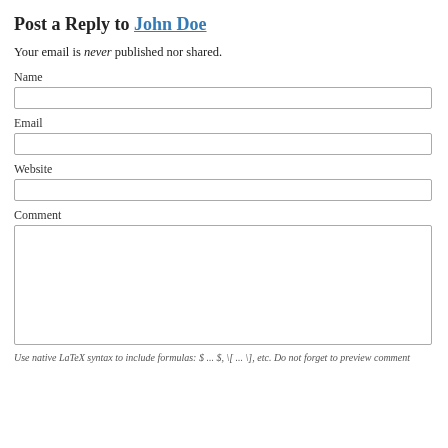Post a Reply to John Doe
Your email is never published nor shared.
Name
Email
Website
Comment
Use native LaTeX syntax to include formulas: $ ... $, \[ ... \], etc. Do not forget to preview comment